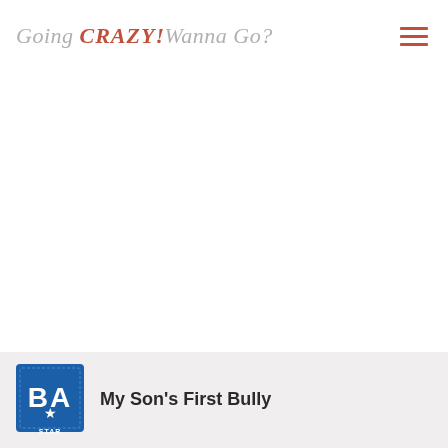Going CRAZY! Wanna Go?
[Figure (logo): Blue stamp-style badge with letters BA and a star, partially visible at bottom of page]
My Son's First Bully